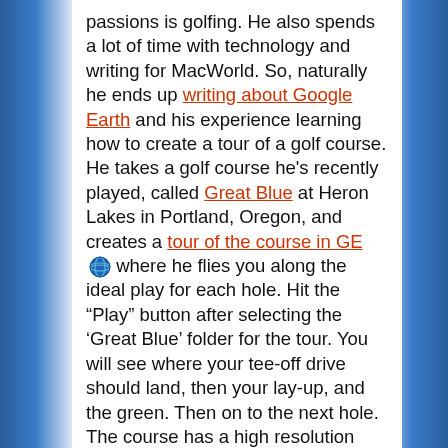passions is golfing. He also spends a lot of time with technology and writing for MacWorld. So, naturally he ends up writing about Google Earth and his experience learning how to create a tour of a golf course. He takes a golf course he's recently played, called Great Blue at Heron Lakes in Portland, Oregon, and creates a tour of the course in GE 🌐 where he flies you along the ideal play for each hole. Hit the "Play" button after selecting the 'Great Blue' folder for the tour. You will see where your tee-off drive should land, then your lay-up, and the green. Then on to the next hole. The course has a high resolution satellite photo, so you can see the details of the course. I like the fly-through of the course. For his readers (who may not have GE) he also put up a video showing the fly-through. But, the GE fly-through is better. (Shortcut tip: if you have the 'Great